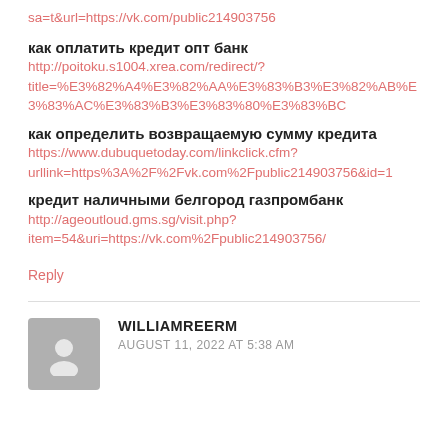sa=t&url=https://vk.com/public214903756
как оплатить кредит опт банк
http://poitoku.s1004.xrea.com/redirect/?title=%E3%82%A4%E3%82%AA%E3%83%B3%E3%82%AB%E3%83%AC%E3%83%B3%E3%83%80%E3%83%BC
как определить возвращаемую сумму кредита
https://www.dubuquetoday.com/linkclick.cfm?urllink=https%3A%2F%2Fvk.com%2Fpublic214903756&id=1
кредит наличными белгород газпромбанк
http://ageoutloud.gms.sg/visit.php?item=54&uri=https://vk.com%2Fpublic214903756/
Reply
WILLIAMREERM
AUGUST 11, 2022 AT 5:38 AM